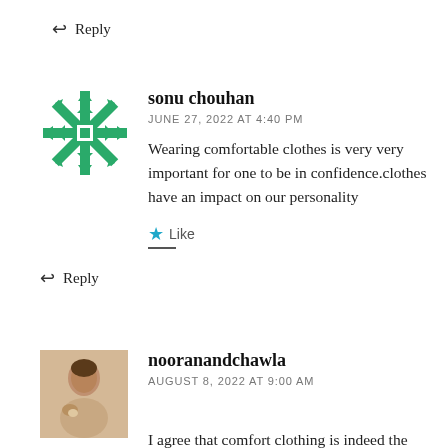↩ Reply
[Figure (illustration): Green snowflake/starburst avatar icon for user sonu chouhan]
sonu chouhan
JUNE 27, 2022 AT 4:40 PM
Wearing comfortable clothes is very very important for one to be in confidence.clothes have an impact on our personality
★ Like
↩ Reply
[Figure (photo): Photo avatar of user nooranandchawla showing a person]
nooranandchawla
AUGUST 8, 2022 AT 9:00 AM
I agree that comfort clothing is indeed the best way to